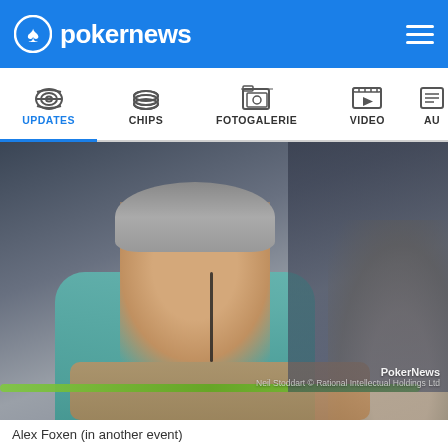pokernews
[Figure (screenshot): PokerNews website navigation bar with tabs: UPDATES (active, blue), CHIPS, FOTOGALERIE, VIDEO, AU(TOREN clipped)]
[Figure (photo): Alex Foxen sitting at a poker table wearing a teal t-shirt and backwards grey cap, with earbuds in, arms resting on the table with poker chips visible. Photo credit: Neil Stoddart © Rational Intellectual Holdings Ltd / PokerNews]
Alex Foxen (in another event)